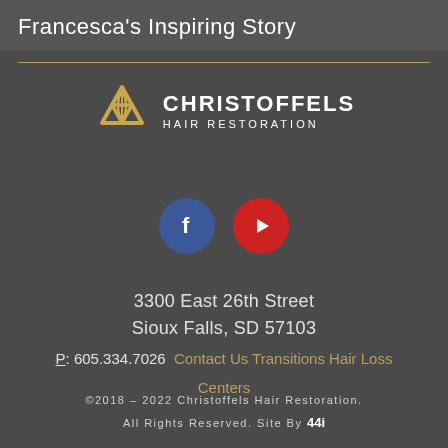Francesca's Inspiring Story
[Figure (logo): Christoffels Hair Restoration logo with triangular golden icon and white text]
[Figure (infographic): Facebook and YouTube social media buttons]
3300 East 26th Street
Sioux Falls, SD 57103
P: 605.334.7026  Contact Us Transitions Hair Loss Centers
©2018 – 2022 Christoffels Hair Restoration. All Rights Reserved. Site By 44i